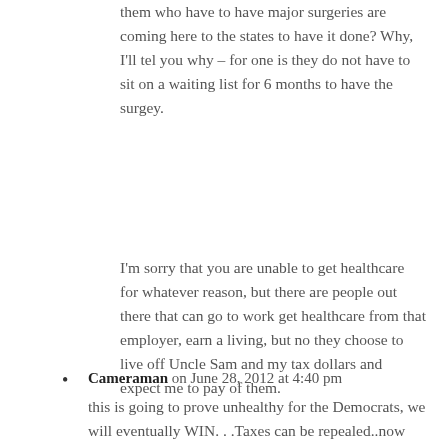them who have to have major surgeries are coming here to the states to have it done? Why, I'll tel you why – for one is they do not have to sit on a waiting list for 6 months to have the surgey.
I'm sorry that you are unable to get healthcare for whatever reason, but there are people out there that can go to work get healthcare from that employer, earn a living, but no they choose to live off Uncle Sam and my tax dollars and expect me to pay of them.
Cameraman on June 28, 2012 at 4:40 pm
this is going to prove unhealthy for the Democrats, we will eventually WIN. . .Taxes can be repealed..now we take the House, Senate and The WH. . .Lets Roll!!!@